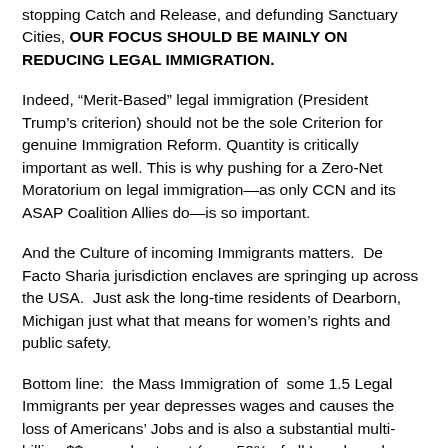stopping Catch and Release, and defunding Sanctuary Cities, OUR FOCUS SHOULD BE MAINLY ON REDUCING LEGAL IMMIGRATION.
Indeed, “Merit-Based” legal immigration (President Trump’s criterion) should not be the sole Criterion for genuine Immigration Reform. Quantity is critically important as well. This is why pushing for a Zero-Net Moratorium on legal immigration—as only CCN and its ASAP Coalition Allies do—is so important.
And the Culture of incoming Immigrants matters.  De Facto Sharia jurisdiction enclaves are springing up across the USA.  Just ask the long-time residents of Dearborn, Michigan just what that means for women’s rights and public safety.
Bottom line:  the Mass Immigration of  some 1.5 Legal Immigrants per year depresses wages and causes the loss of Americans’ Jobs and is also a substantial multi-billion $$ annual net cost (over 50% of all Legals and